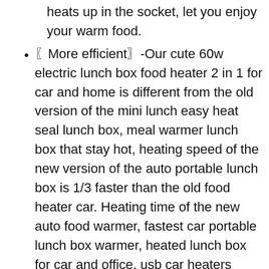heats up in the socket, let you enjoy your warm food.
〖More efficient〗-Our cute 60w electric lunch box food heater 2 in 1 for car and home is different from the old version of the mini lunch easy heat seal lunch box, meal warmer lunch box that stay hot, heating speed of the new version of the auto portable lunch box is 1/3 faster than the old food heater car. Heating time of the new auto food warmer, fastest car portable lunch box warmer, heated lunch box for car and office, usb car heaters portable 2022 : Summer:15-25 Minute, Winter:25-40 Minute.
〖The Perfect Choice for Gift〗-Electric 60w lunch box car small twelve volt...